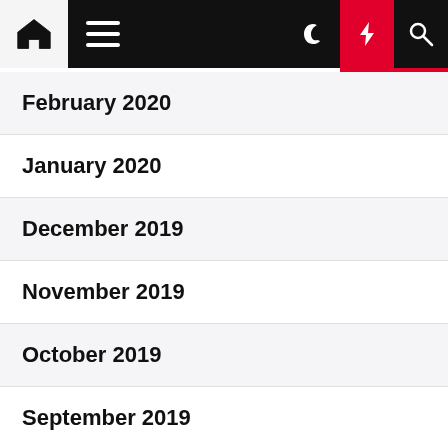Navigation bar with home, hamburger menu, moon, lightning, and search icons
February 2020
January 2020
December 2019
November 2019
October 2019
September 2019
August 2019
July 2019
June 2019